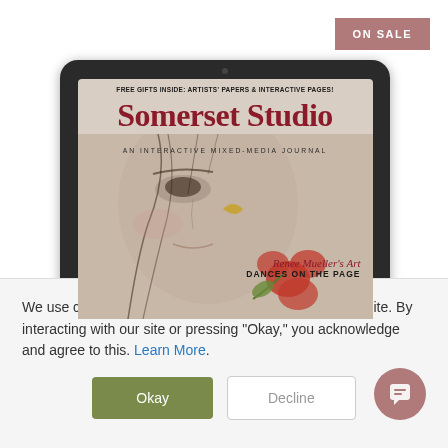[Figure (screenshot): Screenshot of a website showing a tablet device displaying the Somerset Studio magazine cover. The magazine cover features the title 'Somerset Studio: An Interactive Mixed-Media Journal' with a close-up of a woman's face, floral elements, and the text 'Renee Mueller's Art DANCES ON THE PAGE'. A cookie consent overlay appears at the bottom with the message about cookies, and Okay/Decline buttons. An 'ON SALE' badge appears in the top-right corner.]